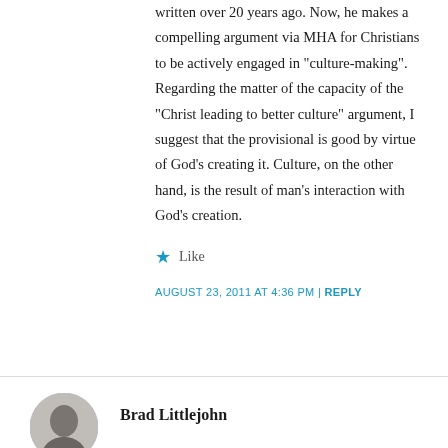written over 20 years ago. Now, he makes a compelling argument via MHA for Christians to be actively engaged in "culture-making". Regarding the matter of the capacity of the "Christ leading to better culture" argument, I suggest that the provisional is good by virtue of God's creating it. Culture, on the other hand, is the result of man's interaction with God's creation.
★ Like
AUGUST 23, 2011 AT 4:36 PM | REPLY
[Figure (photo): Circular avatar photo of Brad Littlejohn, black and white portrait]
Brad Littlejohn